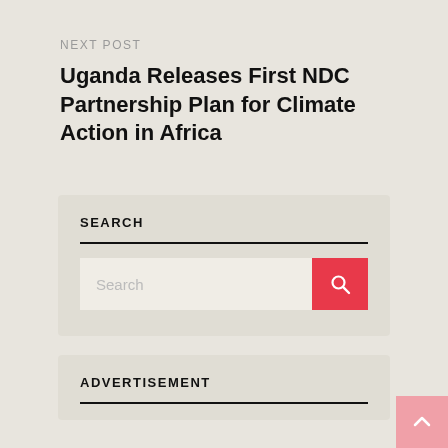NEXT POST
Uganda Releases First NDC Partnership Plan for Climate Action in Africa
SEARCH
ADVERTISEMENT